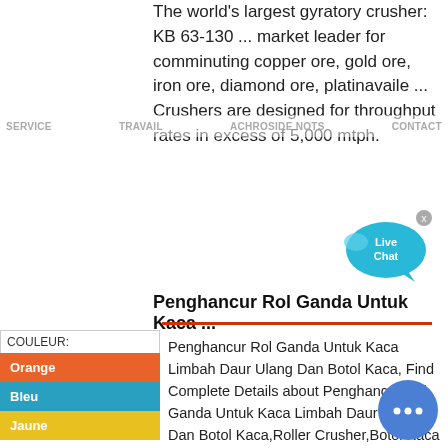The world's largest gyratory crusher: KB 63-130 ... market leader for comminuting copper ore, gold ore, iron ore, diamond ore, platinavaile ... Crushers are designed for throughput rates in excess of 5,000 mtph.
SERVICE  TRAVAIL  ACHROSIDE NOTS  CONTACT
[Figure (illustration): Live Chat bubble icon in teal/cyan color with white text 'Live Chat' and a close X button]
Penghancur Rol Ganda Untuk Kaca ...
COULEUR:
Orange
Bleu
Jaune
Penghancur Rol Ganda Untuk Kaca Limbah Daur Ulang Dan Botol Kaca, Find Complete Details about Penghancur Rol Ganda Untuk Kaca Limbah Daur Ulang Dan Botol Kaca,Roller Crusher,Botol Kaca Roller Crusher Limbah Crusher Kaca from Crusher Supplier or ...
[Figure (illustration): Blue circular chat button with three dots]